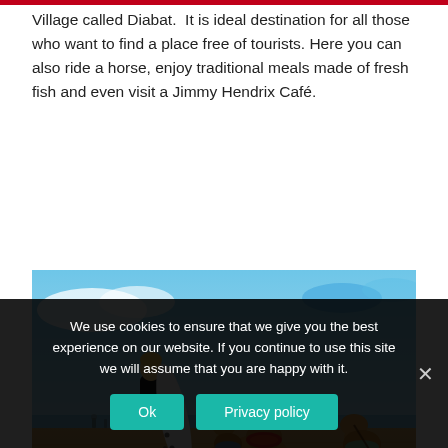Village called Diabat.  It is ideal destination for all those who want to find a place free of tourists. Here you can also ride a horse, enjoy traditional meals made of fresh fish and even visit a Jimmy Hendrix Café.
[Figure (photo): A surfer in a black wetsuit carrying a white surfboard walks on a sandy beach toward the sea, while three camels with colorful saddles stand on the right side of the image under a bright blue sky.]
We use cookies to ensure that we give you the best experience on our website. If you continue to use this site we will assume that you are happy with it.